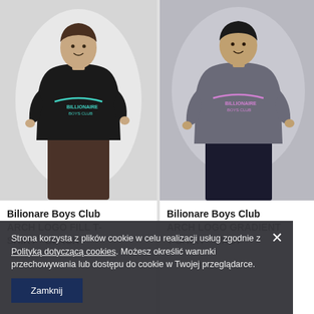[Figure (photo): Man wearing black Billionaire Boys Club Arch Logo Fill T-Shirt, smiling, white background]
Bilionare Boys Club ARCH LOGO FILL T-SHIRT - BLACK
[Figure (photo): Man wearing grey Billionaire Boys Club Arch Logo Gradient T-Shirt, smiling, grey background]
Bilionare Boys Club ARCH LOGO GRADIENT T-SHIRT - GREY
Strona korzysta z plików cookie w celu realizacji usług zgodnie z Polityką dotyczącą cookies. Możesz określić warunki przechowywania lub dostępu do cookie w Twojej przeglądarce.